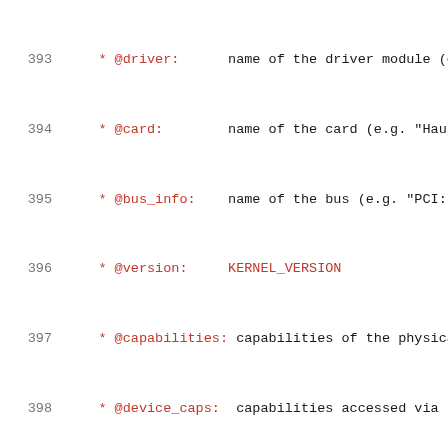Source code listing lines 393-414, showing struct v4l2_capability definition and capability defines
393  * @driver:      name of the driver module (e...
394  * @card:        name of the card (e.g. "Haup...
395  * @bus_info:    name of the bus (e.g. "PCI:"...
396  * @version:     KERNEL_VERSION
397  * @capabilities: capabilities of the physical...
398  * @device_caps:  capabilities accessed via th...
399  * @reserved:    reserved fields for future e...
400  */
401  struct v4l2_capability {
402          __u8     driver[16];
403          __u8     card[32];
404          __u8     bus_info[32];
405          __u32    version;
406          __u32    capabilities;
407          __u32    device_caps;
408          __u32    reserved[3];
409  };
410
411  /* Values for 'capabilities' field */
412  #define V4L2_CAP_VIDEO_CAPTURE        0x00000...
413  #define V4L2_CAP_VIDEO_OUTPUT         0x00000...
414  #define V4L2_CAP_VIDEO_OVERLAY        0x00000...